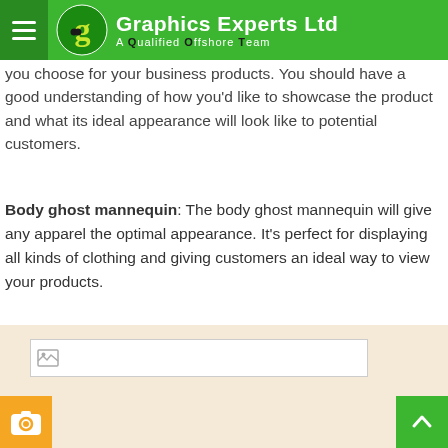Graphics Experts Ltd — A Qualified Offshore Team
There are several different types of ghost mannequins available. The you choose for your business products. You should have a good understanding of how you'd like to showcase the product and what its ideal appearance will look like to potential customers.
Body ghost mannequin: The body ghost mannequin will give any apparel the optimal appearance. It's perfect for displaying all kinds of clothing and giving customers an ideal way to view your products.
[Figure (photo): Placeholder image area with broken image icon on a light beige/cream background]